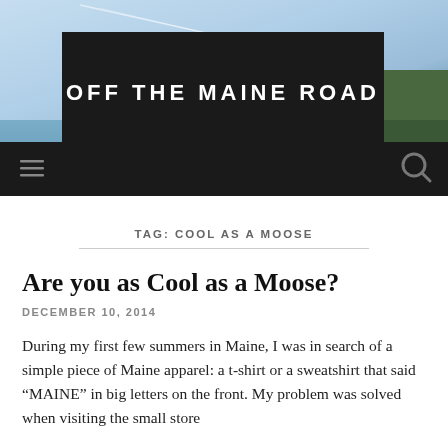[Figure (photo): Blog header banner: sky and water landscape photo with dark overlay black bar containing site title text 'OFF THE MAINE ROAD' in white bold uppercase letters. Navigation bar below with hamburger menu icon and search icon.]
TAG: COOL AS A MOOSE
Are you as Cool as a Moose?
DECEMBER 10, 2014
During my first few summers in Maine, I was in search of a simple piece of Maine apparel: a t-shirt or a sweatshirt that said “MAINE” in big letters on the front. My problem was solved when visiting the small store